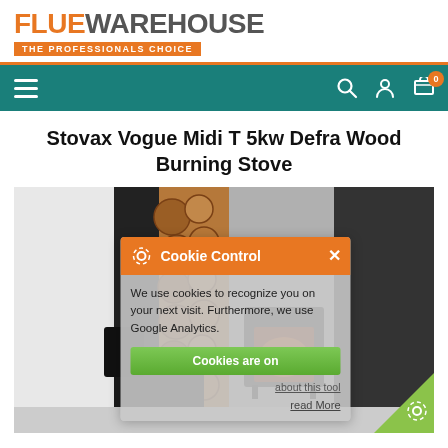[Figure (logo): FlueWarehouse logo with orange FLUE text, grey WAREHOUSE text, and orange banner reading THE PROFESSIONALS CHOICE]
[Figure (screenshot): Teal navigation bar with hamburger menu on left and search, account, cart icons on right. Cart shows badge with 0.]
Stovax Vogue Midi T 5kw Defra Wood Burning Stove
[Figure (photo): Product photo of a wood burning stove with stacked log wall, modern interior. Overlaid by a Cookie Control popup with orange header, message about cookies and Google Analytics, a green Cookies are on button, about this tool link, and read More link. A green corner badge with gear icon appears bottom right.]